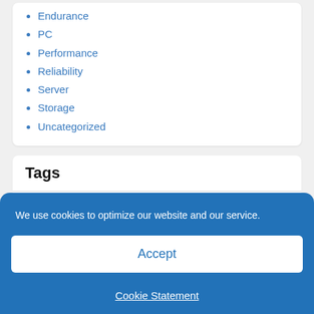Endurance
PC
Performance
Reliability
Server
Storage
Uncategorized
Tags
7th generation Core all-SSD Server availability bandwidth benchmark cache caching Consistent Performance
We use cookies to optimize our website and our service.
Accept
Cookie Statement